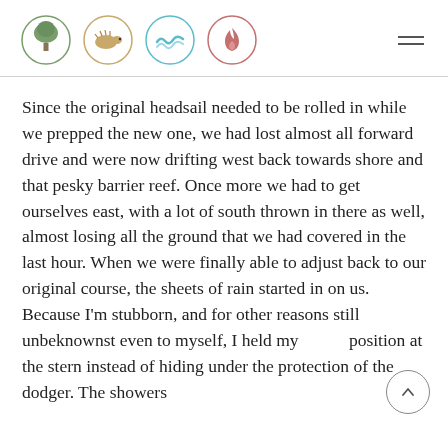[Figure (illustration): Four circular icons in a header row: a green tree (earth), a golden/brown hedgehog or animal (earth/animal), a teal wave or hand (water/wind), and a rose/red flame (fire). Each icon is enclosed in a thin circular border matching its color theme.]
Since the original headsail needed to be rolled in while we prepped the new one, we had lost almost all forward drive and were now drifting west back towards shore and that pesky barrier reef. Once more we had to get ourselves east, with a lot of south thrown in there as well, almost losing all the ground that we had covered in the last hour. When we were finally able to adjust back to our original course, the sheets of rain started in on us. Because I'm stubborn, and for other reasons still unbeknownst even to myself, I held my position at the stern instead of hiding under the protection of the dodger. The showers